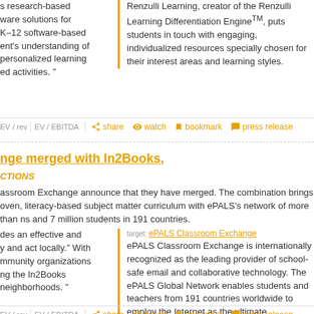s research-based ware solutions for K–12 software-based ent's understanding of personalized learning ed activities."
Renzulli Learning, creator of the Renzulli Learning Differentiation EngineTM, puts students in touch with engaging, individualized resources specially chosen for their interest areas and learning styles.
EV / rev  EV / EBITDA  share  watch  bookmark  press release
nge merged with In2Books,
CTIONS
assroom Exchange announce that they have merged. The combination brings oven, literacy-based subject matter curriculum with ePALS's network of more than ns and 7 million students in 191 countries.
target: ePALS Classroom Exchange
ePALS Classroom Exchange is internationally recognized as the leading provider of school-safe email and collaborative technology. The ePALS Global Network enables students and teachers from 191 countries worldwide to employ the Internet as the ultimate communication and cross-cultural learning tool.
des an effective and y and act locally." With mmunity organizations ng the In2Books neighborhoods."
EV / rev  EV / EBITDA  share  watch  bookmark  press release